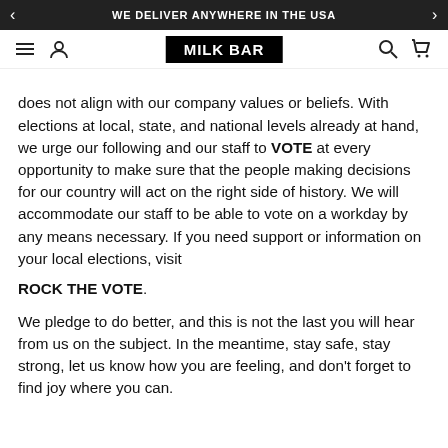WE DELIVER ANYWHERE IN THE USA
[Figure (logo): Milk Bar logo in white text on black background, navigation bar with hamburger menu, user icon, search, and cart icons]
does not align with our company values or beliefs. With elections at local, state, and national levels already at hand, we urge our following and our staff to VOTE at every opportunity to make sure that the people making decisions for our country will act on the right side of history. We will accommodate our staff to be able to vote on a workday by any means necessary. If you need support or information on your local elections, visit
ROCK THE VOTE.
We pledge to do better, and this is not the last you will hear from us on the subject. In the meantime, stay safe, stay strong, let us know how you are feeling, and don't forget to find joy where you can.